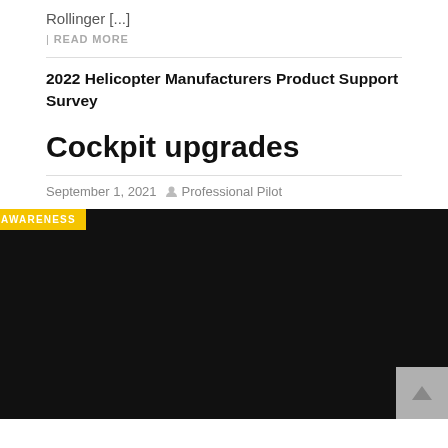Rollinger [...]
| READ MORE
2022 Helicopter Manufacturers Product Support Survey
Cockpit upgrades
September 1, 2021   Professional Pilot
[Figure (photo): Dark/black image with a yellow 'SITUATIONAL AWARENESS' badge in the top left corner and a grey scroll button in the bottom right corner.]